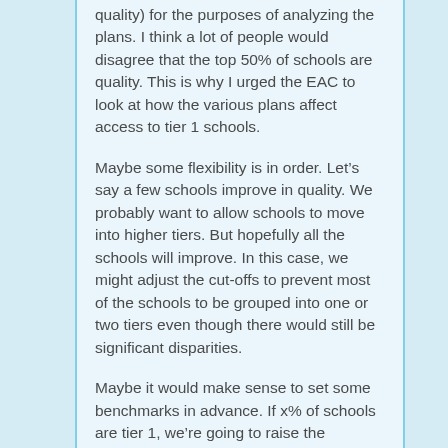quality) for the purposes of analyzing the plans. I think a lot of people would disagree that the top 50% of schools are quality. This is why I urged the EAC to look at how the various plans affect access to tier 1 schools.
Maybe some flexibility is in order. Let's say a few schools improve in quality. We probably want to allow schools to move into higher tiers. But hopefully all the schools will improve. In this case, we might adjust the cut-offs to prevent most of the schools to be grouped into one or two tiers even though there would still be significant disparities.
Maybe it would make sense to set some benchmarks in advance. If x% of schools are tier 1, we're going to raise the benchmark for tier 1 to y. It makes things even more complicated